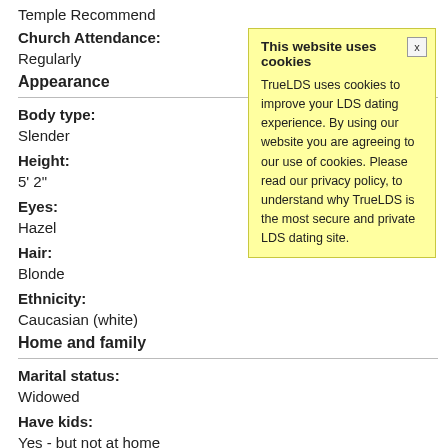Temple Recommend
Church Attendance:
Regularly
Appearance
Body type:
Slender
Height:
5' 2"
Eyes:
Hazel
Hair:
Blonde
Ethnicity:
Caucasian (white)
Home and family
Marital status:
Widowed
Have kids:
Yes - but not at home
Want (more) kids:
No
[Figure (screenshot): Cookie consent popup box with yellow background. Title: 'This website uses cookies'. Body text: 'TrueLDS uses cookies to improve your LDS dating experience. By using our website you are agreeing to our use of cookies. Please read our privacy policy, to understand why TrueLDS is the most secure and private LDS dating site.' with an X close button in the top right corner.]